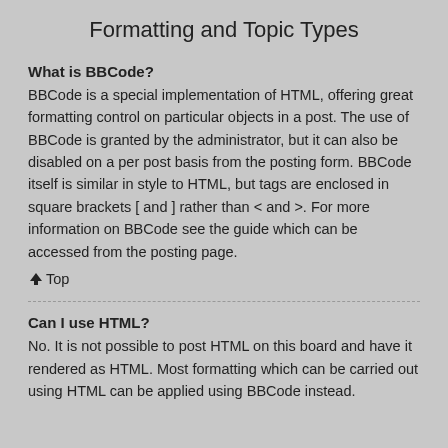Formatting and Topic Types
What is BBCode?
BBCode is a special implementation of HTML, offering great formatting control on particular objects in a post. The use of BBCode is granted by the administrator, but it can also be disabled on a per post basis from the posting form. BBCode itself is similar in style to HTML, but tags are enclosed in square brackets [ and ] rather than < and >. For more information on BBCode see the guide which can be accessed from the posting page.
↑ Top
Can I use HTML?
No. It is not possible to post HTML on this board and have it rendered as HTML. Most formatting which can be carried out using HTML can be applied using BBCode instead.